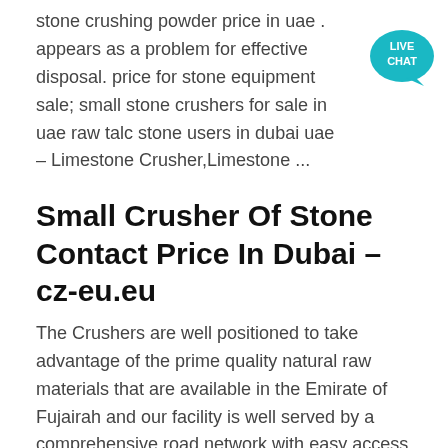stone crushing powder price in uae . appears as a problem for effective disposal. price for stone equipment sale; small stone crushers for sale in uae raw talc stone users in dubai uae - Limestone Crusher,Limestone ...
[Figure (illustration): Live chat button - teal speech bubble icon with 'LIVE CHAT' text]
Small Crusher Of Stone Contact Price In Dubai – cz-eu.eu
The Crushers are well positioned to take advantage of the prime quality natural raw materials that are available in the Emirate of Fujairah and our facility is well served by a comprehensive road network with easy access to Fujairah, Dubai, Abu Dhabi and beyond. Read More: Crushers in UAE: Quarries in UAE
stone crusher equipment in dubai